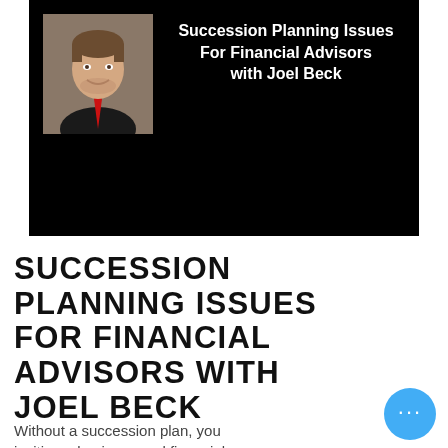[Figure (screenshot): Podcast or video thumbnail with black background. Left side shows a professional headshot of a man in a dark suit with red tie. Right side shows bold white text: 'Succession Planning Issues For Financial Advisors with Joel Beck'.]
SUCCESSION PLANNING ISSUES FOR FINANCIAL ADVISORS WITH JOEL BECK
Without a succession plan, you inviting a business and financial